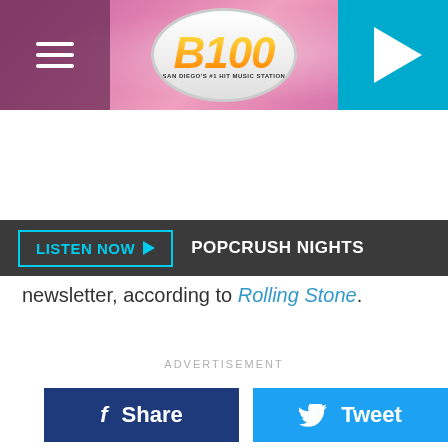[Figure (logo): B100 radio station header with pink hexagon background, hamburger menu icon on left, B100 oval logo in center, play button on right]
LISTEN NOW ▶  POPCRUSH NIGHTS
[Figure (other): Facebook Share button and Twitter Tweet button side by side]
newsletter, according to Rolling Stone.
ADVERTISEMENT